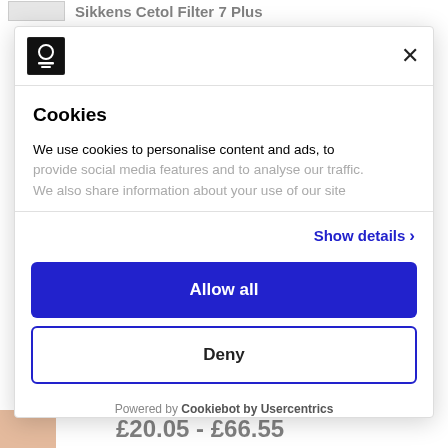Sikkens Cetol Filter 7 Plus
[Figure (screenshot): Cookie consent modal dialog overlay on a product webpage]
[Figure (logo): Wood Finishes Direct logo (small square dark logo)]
Cookies
We use cookies to personalise content and ads, to provide social media features and to analyse our traffic. We also share information about your use of our site
Show details >
Allow all
Deny
Powered by Cookiebot by Usercentrics
£20.05 - £66.55